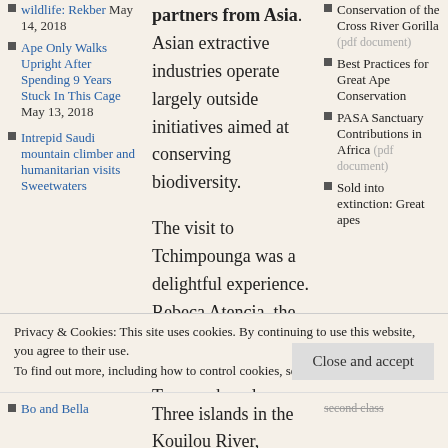wildlife: Rekber May 14, 2018
partners from Asia. Asian extractive industries operate largely outside initiatives aimed at conserving biodiversity.
Conservation of the Cross River Gorilla (pdf document)
Ape Only Walks Upright After Spending 9 Years Stuck In This Cage May 13, 2018
The visit to Tchimpounga was a delightful experience. Rebeca Atencia, the manager, and her husband Fernando Turmo, shared a wealth of information on the admirable work that they and staff are carrying out there. The centre’s 166 chimpanzees and about 20
Best Practices for Great Ape Conservation
PASA Sanctuary Contributions in Africa (pdf document)
Sold into extinction: Great apes
Intrepid Saudi mountain climber and humanitarian visits Sweetwaters
Privacy & Cookies: This site uses cookies. By continuing to use this website, you agree to their use.
To find out more, including how to control cookies, see here: Cookie Policy
Bo and Bella
Three islands in the Kouilou River,